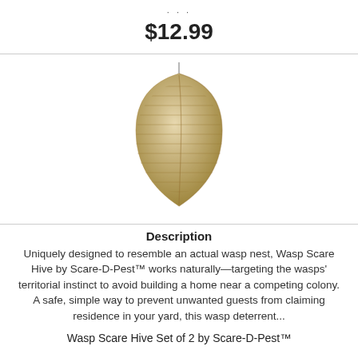$12.99
[Figure (photo): A wasp nest shaped decoy hive product, beige/tan colored, teardrop shaped, with layered paper-like texture.]
Description
Uniquely designed to resemble an actual wasp nest, Wasp Scare Hive by Scare-D-Pest™ works naturally—targeting the wasps' territorial instinct to avoid building a home near a competing colony. A safe, simple way to prevent unwanted guests from claiming residence in your yard, this wasp deterrent...
Wasp Scare Hive Set of 2 by Scare-D-Pest™